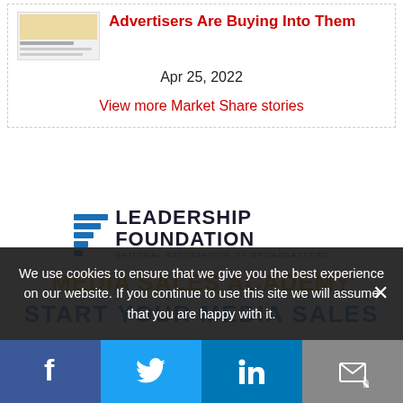Advertisers Are Buying Into Them
Apr 25, 2022
View more Market Share stories
[Figure (logo): NAB Leadership Foundation logo with stacked blue bars and bold text reading LEADERSHIP FOUNDATION, NATIONAL ASSOCIATION OF BROADCASTERS]
MEDIA SALES ACADEMY
START YOUR MEDIA SALES
We use cookies to ensure that we give you the best experience on our website. If you continue to use this site we will assume that you are happy with it.
[Figure (infographic): Social share bar with Facebook, Twitter, LinkedIn, and email icons]